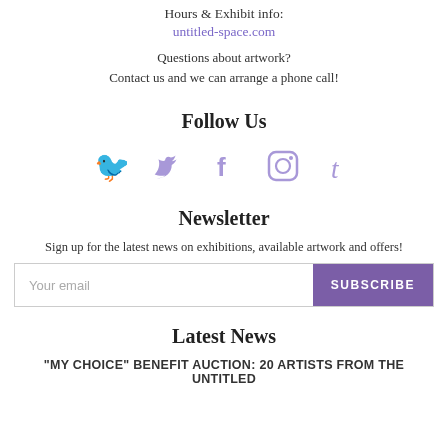Hours & Exhibit info:
untitled-space.com
Questions about artwork?
Contact us and we can arrange a phone call!
Follow Us
[Figure (illustration): Social media icons: Twitter bird, Facebook F, Instagram camera, Tumblr t — all in light purple/lavender color]
Newsletter
Sign up for the latest news on exhibitions, available artwork and offers!
Your email  [SUBSCRIBE button]
Latest News
"MY CHOICE" BENEFIT AUCTION: 20 ARTISTS FROM THE UNTITLED